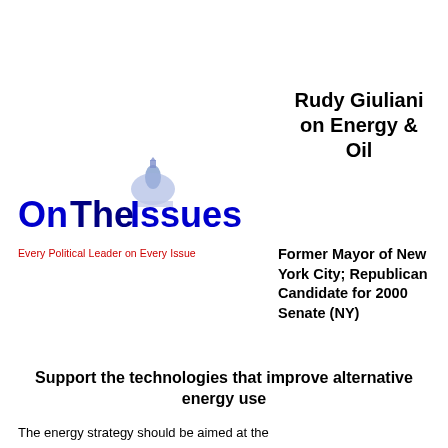[Figure (logo): OnTheIssues logo with capitol dome graphic above the text 'OnTheIssues' in blue, and tagline 'Every Political Leader on Every Issue' in red]
Rudy Giuliani on Energy & Oil
Former Mayor of New York City; Republican Candidate for 2000 Senate (NY)
Support the technologies that improve alternative energy use
The energy strategy should be aimed at the